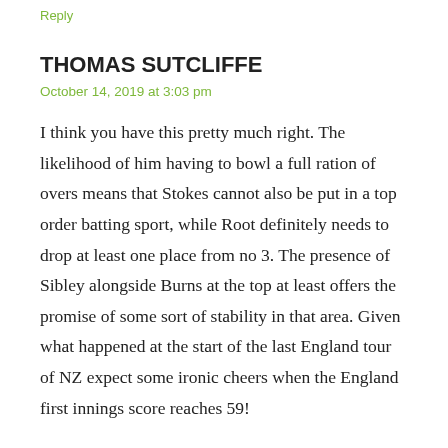Reply
THOMAS SUTCLIFFE
October 14, 2019 at 3:03 pm
I think you have this pretty much right. The likelihood of him having to bowl a full ration of overs means that Stokes cannot also be put in a top order batting sport, while Root definitely needs to drop at least one place from no 3. The presence of Sibley alongside Burns at the top at least offers the promise of some sort of stability in that area. Given what happened at the start of the last England tour of NZ expect some ironic cheers when the England first innings score reaches 59!
Reply